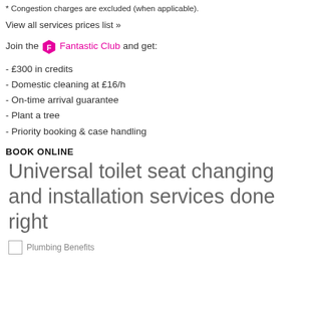Congestion charges are excluded (when applicable).
View all services prices list »
Join the [F] Fantastic Club and get:
- £300 in credits
- Domestic cleaning at £16/h
- On-time arrival guarantee
- Plant a tree
- Priority booking & case handling
BOOK ONLINE
Universal toilet seat changing and installation services done right
[Figure (photo): Plumbing Benefits image placeholder]